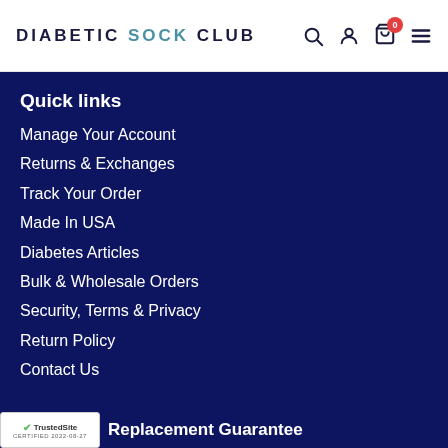DIABETIC SOCK CLUB
Quick links
Manage Your Account
Returns & Exchanges
Track Your Order
Made In USA
Diabetes Articles
Bulk & Wholesale Orders
Security, Terms & Privacy
Return Policy
Contact Us
TrustedSite CERTIFIED 2022-08-27 Replacement Guarantee